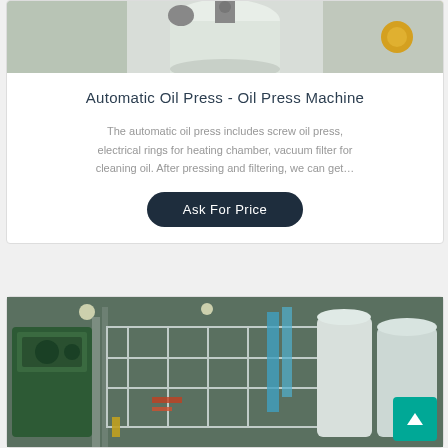[Figure (photo): Photo of automatic oil press machine with white cylindrical components and yellow handle on right side]
Automatic Oil Press - Oil Press Machine
The automatic oil press includes screw oil press, electrical rings for heating chamber, vacuum filter for cleaning oil. After pressing and filtering, we can get…
Ask For Price
[Figure (photo): Industrial oil refinery or processing plant with green machinery, white tanks, pipes, and scaffolding structures]